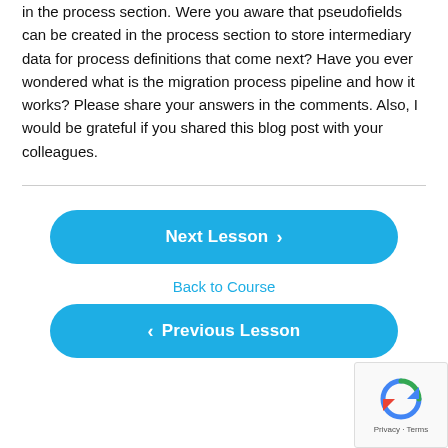in the process section. Were you aware that pseudofields can be created in the process section to store intermediary data for process definitions that come next? Have you ever wondered what is the migration process pipeline and how it works? Please share your answers in the comments. Also, I would be grateful if you shared this blog post with your colleagues.
Next Lesson ›
Back to Course
‹ Previous Lesson